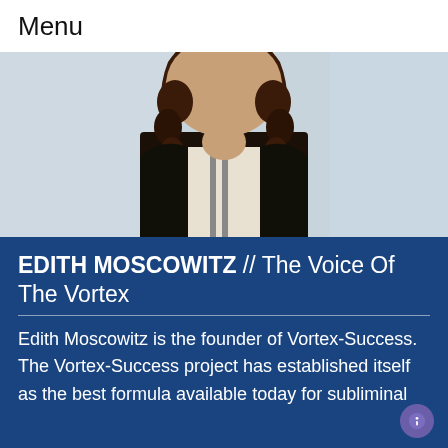Menu
[Figure (photo): Portrait photo of Edith Moscowitz, a woman with long curly dark hair, wearing a dark blazer over a striped shirt, with a blurred indoor background.]
EDITH MOSCOWITZ // The Voice Of The Vortex
Edith Moscowitz is the founder of Vortex-Success. The Vortex-Success project has established itself as the best formula available today for subliminal